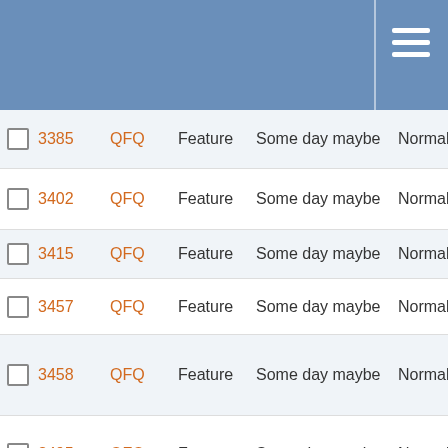|  | ID | Project | Type | Milestone | Priority | Title |
| --- | --- | --- | --- | --- | --- | --- |
| ☐ | 3385 | QFQ | Feature | Some day maybe | Normal | In: pr |
| ☐ | 3402 | QFQ | Feature | Some day maybe | Normal | Sy Co |
| ☐ | 3415 | QFQ | Feature | Some day maybe | Normal | FE |
| ☐ | 3457 | QFQ | Feature | Some day maybe | Normal | LD to |
| ☐ | 3458 | QFQ | Feature | Some day maybe | Normal | Di El fo Gl |
| ☐ | 3495 | QFQ | Feature | Some day maybe | Normal | Pr we ne |
| ☐ | 3537 | QFQ | Feature | Some day maybe | Low | Sh ta de |
| ☐ | 3567 | QFQ | Feature | Some day maybe | Low | 'S Fo |
| ☐ | 3588 | QFQ | Bug | Some day maybe | Normal | te El do |